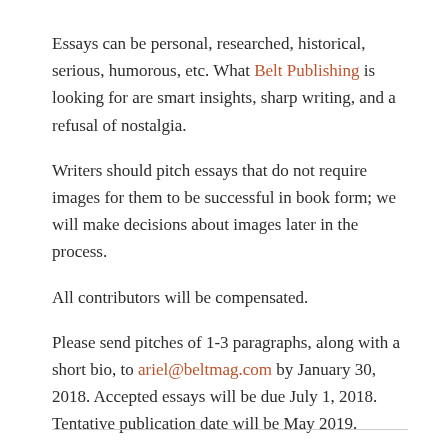Essays can be personal, researched, historical, serious, humorous, etc. What Belt Publishing is looking for are smart insights, sharp writing, and a refusal of nostalgia.
Writers should pitch essays that do not require images for them to be successful in book form; we will make decisions about images later in the process.
All contributors will be compensated.
Please send pitches of 1-3 paragraphs, along with a short bio, to ariel@beltmag.com by January 30, 2018. Accepted essays will be due July 1, 2018. Tentative publication date will be May 2019.